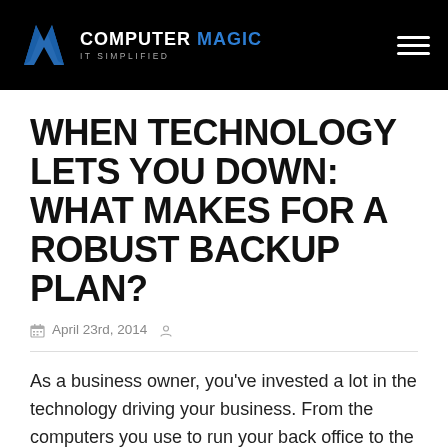COMPUTER MAGIC — IT SIMPLIFIED
WHEN TECHNOLOGY LETS YOU DOWN: WHAT MAKES FOR A ROBUST BACKUP PLAN?
April 23rd, 2014
As a business owner, you've invested a lot in the technology driving your business. From the computers you use to run your back office to the automated manufacturing machines making your products, you